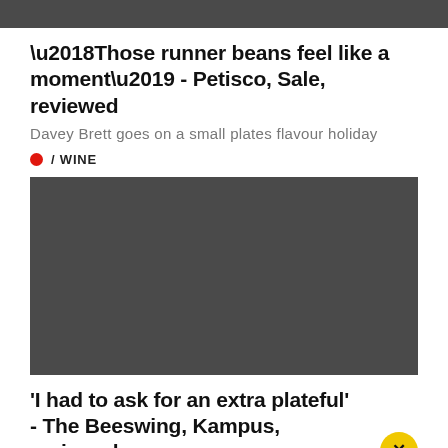[Figure (photo): Dark grey/charcoal top image bar, partially cropped]
‘Those runner beans feel like a moment’ - Petisco, Sale, reviewed
Davey Brett goes on a small plates flavour holiday
/ WINE
[Figure (photo): Large dark grey placeholder image for wine article]
'I had to ask for an extra plateful' - The Beeswing, Kampus, reviewed